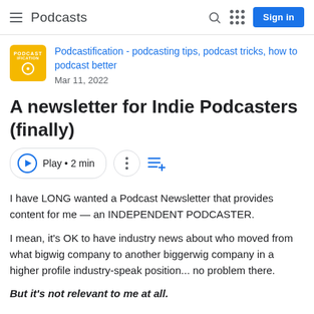Podcasts
Podcastification - podcasting tips, podcast tricks, how to podcast better
Mar 11, 2022
A newsletter for Indie Podcasters (finally)
Play • 2 min
I have LONG wanted a Podcast Newsletter that provides content for me — an INDEPENDENT PODCASTER.

I mean, it's OK to have industry news about who moved from what bigwig company to another biggerwig company in a higher profile industry-speak position... no problem there.

But it's not relevant to me at all.